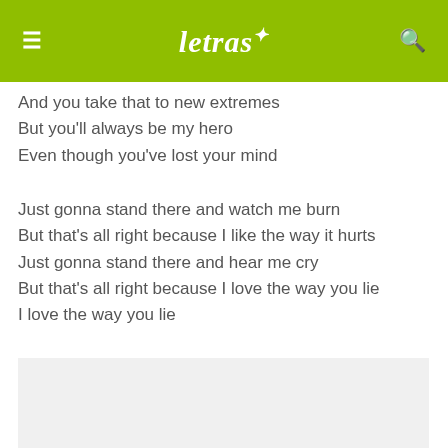≡  letras✩  🔍
And you take that to new extremes
But you'll always be my hero
Even though you've lost your mind
Just gonna stand there and watch me burn
But that's all right because I like the way it hurts
Just gonna stand there and hear me cry
But that's all right because I love the way you lie
I love the way you lie
Oh, I love the way you lie
[Figure (other): Gray advertisement box at bottom of page]